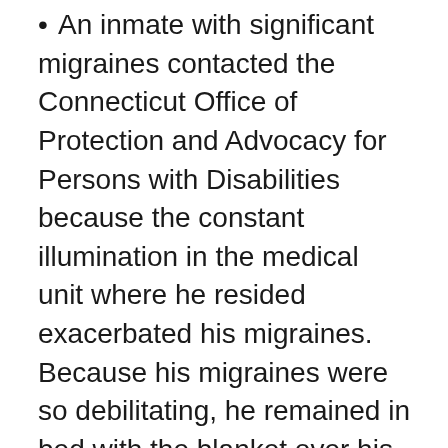An inmate with significant migraines contacted the Connecticut Office of Protection and Advocacy for Persons with Disabilities because the constant illumination in the medical unit where he resided exacerbated his migraines. Because his migraines were so debilitating, he remained in bed with the blanket over his head for the majority of the day and night. The medical ward was a large room divided into four smaller rooms with one light switch that controlled all the lights. Over the course